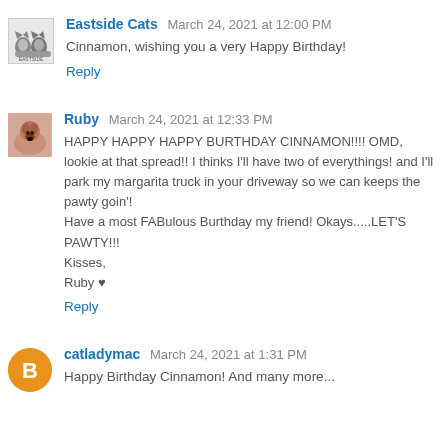Eastside Cats  March 24, 2021 at 12:00 PM
Cinnamon, wishing you a very Happy Birthday!
Reply
Ruby  March 24, 2021 at 12:33 PM
HAPPY HAPPY HAPPY BURTHDAY CINNAMON!!!! OMD, lookie at that spread!! I thinks I'll have two of everythings! and I'll park my margarita truck in your driveway so we can keeps the pawty goin'!
Have a most FABulous Burthday my friend! Okays.....LET'S PAWTY!!!
Kisses,
Ruby ♥
Reply
catladymac  March 24, 2021 at 1:31 PM
Happy Birthday Cinnamon! And many more...